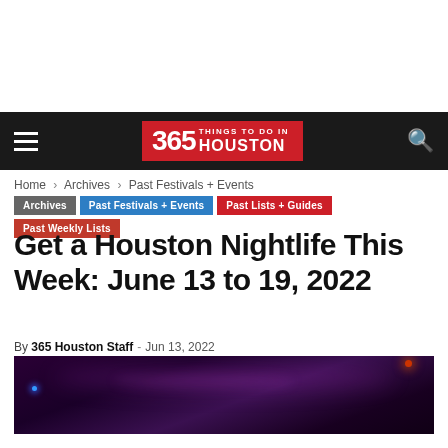365 Things to Do in Houston — Navigation bar
Home › Archives › Past Festivals + Events
Archives | Past Festivals + Events | Past Lists + Guides | Past Weekly Lists
Get a Houston Nightlife This Week: June 13 to 19, 2022
By 365 Houston Staff - Jun 13, 2022
[Figure (photo): Dark nightclub venue interior with purple and magenta lighting, low-lit atmosphere.]